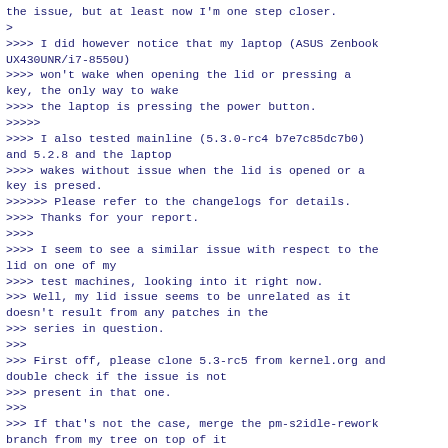the issue, but at least now I'm one step closer.
>
>>>> I did however notice that my laptop (ASUS Zenbook UX430UNR/i7-8550U)
>>>> won't wake when opening the lid or pressing a key, the only way to wake
>>>> the laptop is pressing the power button.
>>>>>
>>>> I also tested mainline (5.3.0-rc4 b7e7c85dc7b0) and 5.2.8 and the laptop
>>>> wakes without issue when the lid is opened or a key is presed.
>>>>>> Please refer to the changelogs for details.
>>>> Thanks for your report.
>>>>
>>>> I seem to see a similar issue with respect to the lid on one of my
>>>> test machines, looking into it right now.
>>> Well, my lid issue seems to be unrelated as it doesn't result from any patches in the
>>> series in question.
>>>
>>> First off, please clone 5.3-rc5 from kernel.org and double check if the issue is not
>>> present in that one.
>>>
>>> If that's not the case, merge the pm-s2idle-rework branch from my tree on top of it
>>> and retest.
>>>
>>> If you still see the issue then, apply the appended